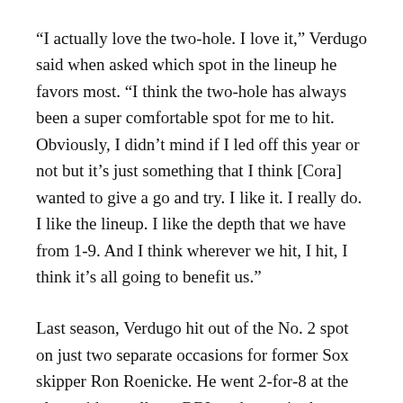“I actually love the two-hole. I love it,” Verdugo said when asked which spot in the lineup he favors most. “I think the two-hole has always been a super comfortable spot for me to hit. Obviously, I didn’t mind if I led off this year or not but it’s just something that I think [Cora] wanted to give a go and try. I like it. I really do. I like the lineup. I like the depth that we have from 1-9. And I think wherever we hit, I hit, I think it’s all going to benefit us.”
Last season, Verdugo hit out of the No. 2 spot on just two separate occasions for former Sox skipper Ron Roenicke. He went 2-for-8 at the plate with a walk, an RBI, and a run in those two appearances.